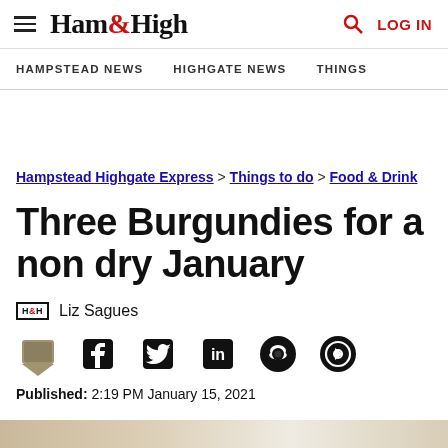Ham&High — HAMPSTEAD NEWS | HIGHGATE NEWS | THINGS [to do]
Hampstead Highgate Express > Things to do > Food & Drink
Three Burgundies for a non dry January
H&H  Liz Sagues
Published: 2:19 PM January 15, 2021